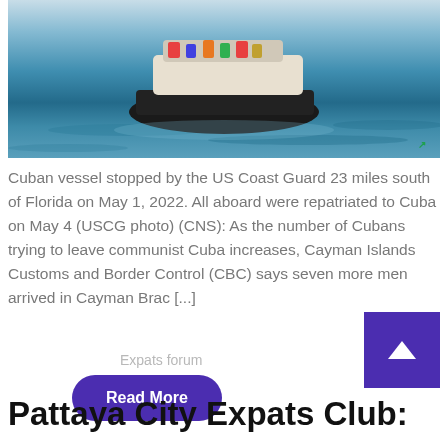[Figure (photo): A Cuban vessel on blue ocean water, stopped by the US Coast Guard. A small watermark symbol appears in the bottom right of the image.]
Cuban vessel stopped by the US Coast Guard 23 miles south of Florida on May 1, 2022. All aboard were repatriated to Cuba on May 4 (USCG photo) (CNS): As the number of Cubans trying to leave communist Cuba increases, Cayman Islands Customs and Border Control (CBC) says seven more men arrived in Cayman Brac [...]
Expats forum
Read More
Pattaya City Expats Club: